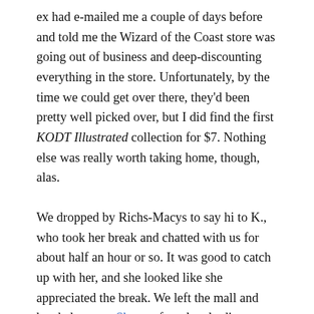ex had e-mailed me a couple of days before and told me the Wizard of the Coast store was going out of business and deep-discounting everything in the store. Unfortunately, by the time we could get over there, they'd been pretty well picked over, but I did find the first KODT Illustrated collection for $7. Nothing else was really worth taking home, though, alas.
We dropped by Richs-Macys to say hi to K., who took her break and chatted with us for about half an hour or so. It was good to catch up with her, and she looked like she appreciated the break. We left the mall and headed over to Shogun for a lovely dinner.
After dinner, we dropped over to The Love Shack to